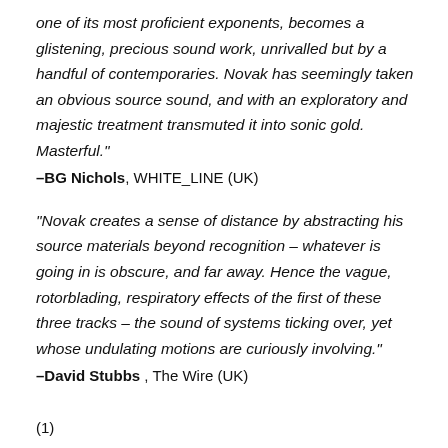one of its most proficient exponents, becomes a glistening, precious sound work, unrivalled but by a handful of contemporaries. Novak has seemingly taken an obvious source sound, and with an exploratory and majestic treatment transmuted it into sonic gold. Masterful."
–BG Nichols, WHITE_LINE (UK)
"Novak creates a sense of distance by abstracting his source materials beyond recognition – whatever is going in is obscure, and far away. Hence the vague, rotorblading, respiratory effects of the first of these three tracks – the sound of systems ticking over, yet whose undulating motions are curiously involving."
–David Stubbs , The Wire (UK)
(1)